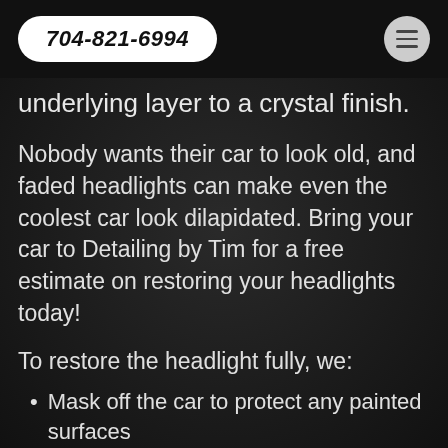704-821-6994
underlying layer to a crystal finish.
Nobody wants their car to look old, and faded headlights can make even the coolest car look dilapidated. Bring your car to Detailing by Tim for a free estimate on restoring your headlights today!
To restore the headlight fully, we:
Mask off the car to protect any painted surfaces